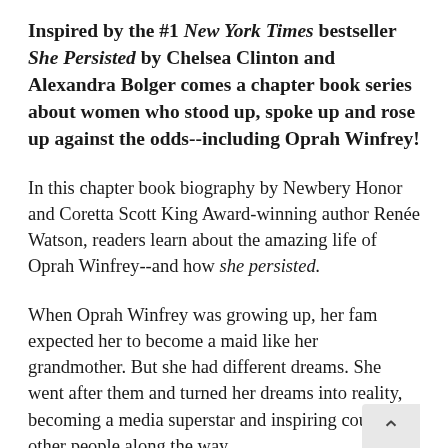Inspired by the #1 New York Times bestseller She Persisted by Chelsea Clinton and Alexandra Bolger comes a chapter book series about women who stood up, spoke up and rose up against the odds--including Oprah Winfrey!
In this chapter book biography by Newbery Honor and Coretta Scott King Award-winning author Renée Watson, readers learn about the amazing life of Oprah Winfrey--and how she persisted.
When Oprah Winfrey was growing up, her family expected her to become a maid like her grandmother. But she had different dreams. She went after them and turned her dreams into reality, becoming a media superstar and inspiring countless other people along the way.